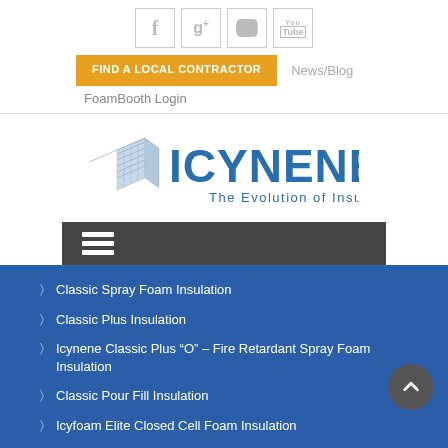[Figure (logo): Social media icons: Facebook, Google+, Twitter, YouTube]
FIND A LOCAL CONTRACTOR   News/Blog   FoamBooth Login
[Figure (logo): Icynene logo - The Evolution of Insulation]
[Figure (infographic): Hamburger menu navigation bar]
Classic Spray Foam Insulation
Classic Plus Insulation
Icynene Classic Plus “O” – Fire Retardant Spray Foam Insulation
Classic Pour Fill Insulation
Icyfoam Elite Closed Cell Foam Insulation
Medium Density Tank Insulation